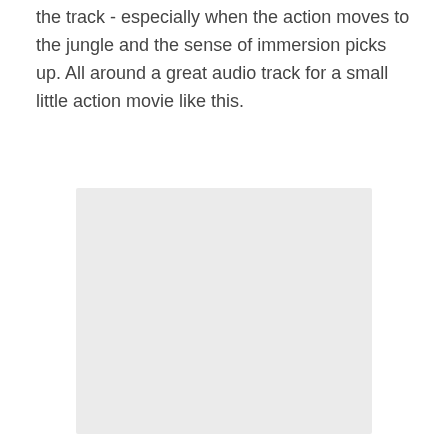the track - especially when the action moves to the jungle and the sense of immersion picks up. All around a great audio track for a small little action movie like this.
[Figure (other): A blank light gray rectangular image placeholder]